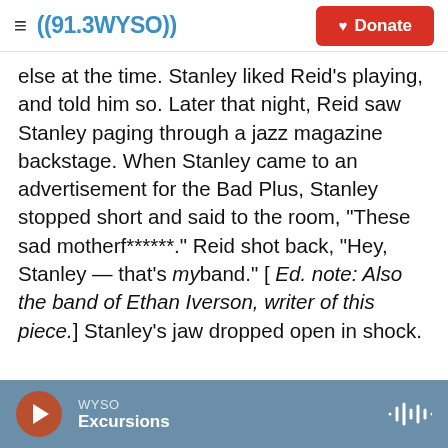((91.3 WYSO)) Donate
else at the time. Stanley liked Reid's playing, and told him so. Later that night, Reid saw Stanley paging through a jazz magazine backstage. When Stanley came to an advertisement for the Bad Plus, Stanley stopped short and said to the room, "These sad motherf******." Reid shot back, "Hey, Stanley — that's my band." [ Ed. note: Also the band of Ethan Iverson, writer of this piece.] Stanley's jaw dropped open in shock.

I heard about this later from Reid, of course, so the next time I saw Stanley at the club I joined him at a table. I introduced myself and he grunted a chilly
WYSO Excursions